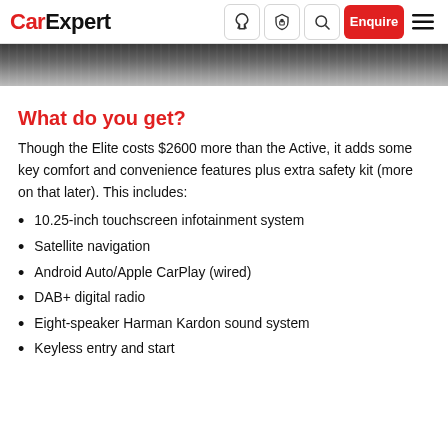CarExpert | Enquire
[Figure (photo): Dark textured surface photo strip, appears to be a close-up of a car body or road surface in dark grey tones.]
What do you get?
Though the Elite costs $2600 more than the Active, it adds some key comfort and convenience features plus extra safety kit (more on that later). This includes:
10.25-inch touchscreen infotainment system
Satellite navigation
Android Auto/Apple CarPlay (wired)
DAB+ digital radio
Eight-speaker Harman Kardon sound system
Keyless entry and start